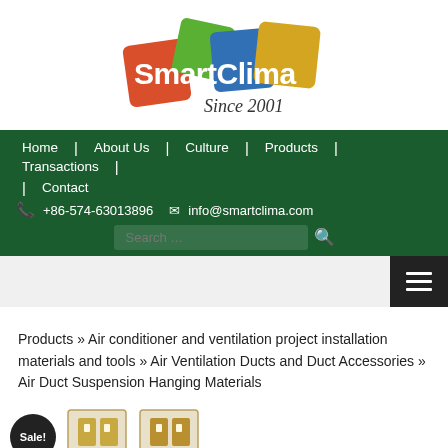[Figure (logo): SmartClima logo with colorful overlapping squares (red, green, blue, yellow) and text 'SmartClima Since 2001']
Home | About Us | Culture | Products | Transactions | Contact | +86-574-63013896 | info@smartclima.com | Search
Products » Air conditioner and ventilation project installation materials and tools » Air Ventilation Ducts and Duct Accessories » Air Duct Suspension Hanging Materials
[Figure (photo): Product thumbnails with Sale! badge visible at bottom of page]